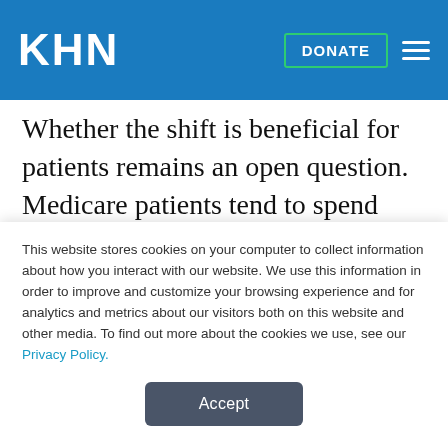KHN  DONATE
Whether the shift is beneficial for patients remains an open question. Medicare patients tend to spend nearly three days in a hospital, data shows. Forty percent of Medicare patients also spend time in a rehabilitation facility for further recovery. The data, which reflects knee replacement operations from 2014, suggests that Medicare patients are taking
This website stores cookies on your computer to collect information about how you interact with our website. We use this information in order to improve and customize your browsing experience and for analytics and metrics about our visitors both on this website and other media. To find out more about the cookies we use, see our Privacy Policy.
Accept